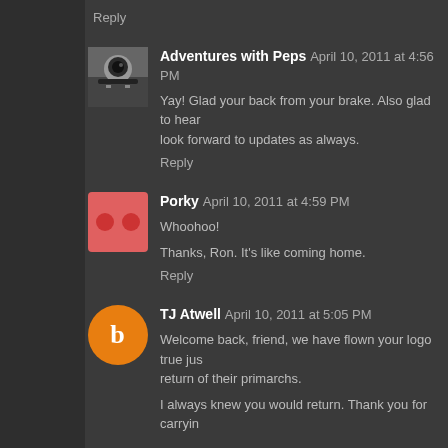Reply
Adventures with Peps  April 10, 2011 at 4:56 PM
Yay! Glad your back from your brake. Also glad to hear look forward to updates as always.
Reply
Porky  April 10, 2011 at 4:59 PM
Whoohoo!
Thanks, Ron. It's like coming home.
Reply
TJ Atwell  April 10, 2011 at 5:05 PM
Welcome back, friend, we have flown your logo true just return of their primarchs.
I always knew you would return. Thank you for carryin